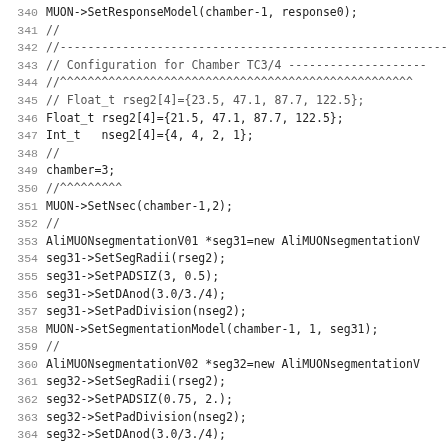Code listing lines 340-371, C++ source code for MUON detector configuration (AliMUON segmentation setup for Chamber TC3/4)